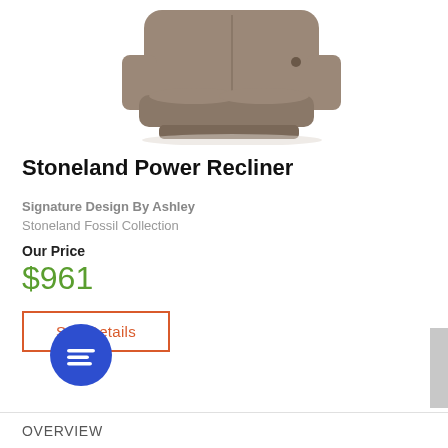[Figure (photo): Product photo of a Stoneland Power Recliner upholstered in brownish-grey fabric, shown from a three-quarter front angle on a white background.]
Stoneland Power Recliner
Signature Design By Ashley
Stoneland Fossil Collection
Our Price
$961
See Details
[Figure (illustration): Blue circular chat icon with white message lines symbol]
OVERVIEW